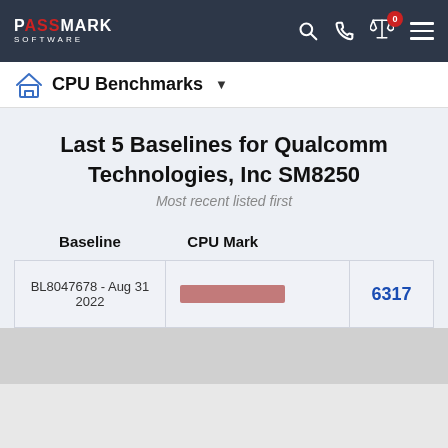PassMark Software
Last 5 Baselines for Qualcomm Technologies, Inc SM8250
Most recent listed first
| Baseline | CPU Mark |  |
| --- | --- | --- |
| BL8047678 - Aug 31 2022 | [bar chart] | 6317 |